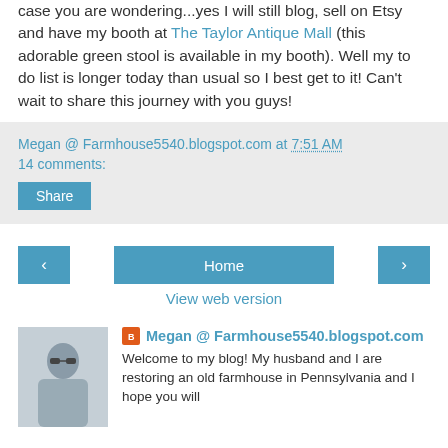case you are wondering...yes I will still blog, sell on Etsy and have my booth at The Taylor Antique Mall (this adorable green stool is available in my booth). Well my to do list is longer today than usual so I best get to it! Can't wait to share this journey with you guys!
Megan @ Farmhouse5540.blogspot.com at 7:51 AM
14 comments:
Share
Home
View web version
[Figure (photo): Profile photo of blog author, a person wearing sunglasses, standing in front of a light-colored wall or fence]
Megan @ Farmhouse5540.blogspot.com
Welcome to my blog! My husband and I are restoring an old farmhouse in Pennsylvania and I hope you will